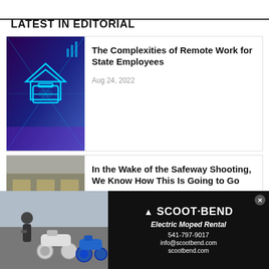LATEST IN EDITORIAL
[Figure (photo): Futuristic digital illustration of a briefcase and house icon against a glowing blue tunnel, suggesting remote work technology]
The Complexities of Remote Work for State Employees
Aug 24, 2022
[Figure (photo): Photo of protest sign reading STOP GUN VIOLENCE with an American flag in background]
In the Wake of the Safeway Shooting, We Know How This Is Going to Go
[Figure (photo): Ad photo of person with electric mopeds on a street]
SCOOT·BEND
Electric Moped Rental
541-797-9017
info@scootbend.com
scootbend.com